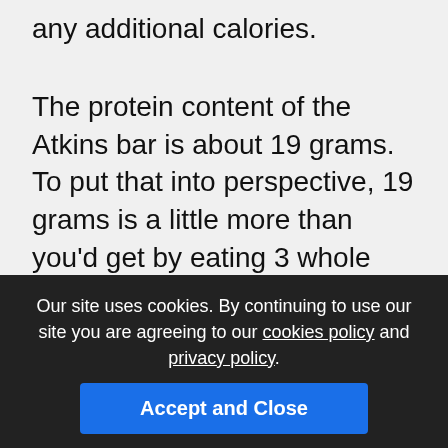any additional calories.
The protein content of the Atkins bar is about 19 grams. To put that into perspective, 19 grams is a little more than you'd get by eating 3 whole eggs. The Atkins bars have only a tiny fraction of the cholesterol in 3 eggs, however. Atkins balances the protein content with a lower amount of fat and almost no carbs or sugars (2g). This ratio of high protein, moderate fats and low or no carbs and sugars is key to the success people have had with the Atkins' approach. Keep a few Atkins bars in your desk at work, and pack a few into your bags or briefcase; you'll always have a convenient and healthy snack handy and won't have to resort to fast food or
Our site uses cookies. By continuing to use our site you are agreeing to our cookies policy and privacy policy.
Accept and Close